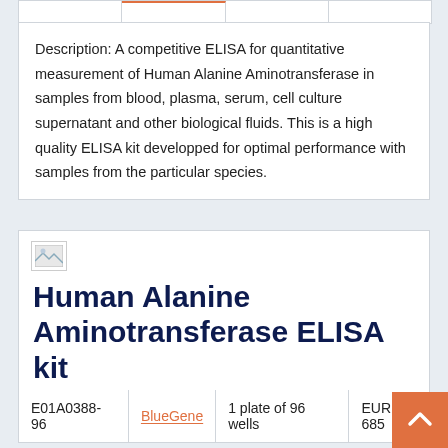Description: A competitive ELISA for quantitative measurement of Human Alanine Aminotransferase in samples from blood, plasma, serum, cell culture supernatant and other biological fluids. This is a high quality ELISA kit developped for optimal performance with samples from the particular species.
[Figure (photo): Small broken image placeholder icon]
Human Alanine Aminotransferase ELISA kit
|  |  |  |  |
| --- | --- | --- | --- |
| E01A0388-96 | BlueGene | 1 plate of 96 wells | EUR 685 |